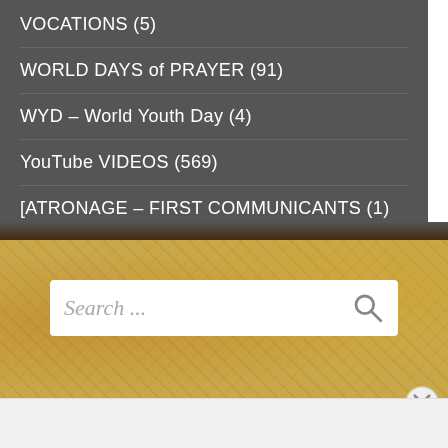VOCATIONS (5)
WORLD DAYS of PRAYER (91)
WYD – World Youth Day (4)
YouTube VIDEOS (569)
[ATRONAGE – FIRST COMMUNICANTS (1)
[Figure (screenshot): Search box with placeholder text 'Search ...' and a search icon, on a tan/gold decorative background]
Advertisements
[Figure (screenshot): Advertisement banner showing a purple gift card ad, a dog photo, and Gift Card Granny shop now button]